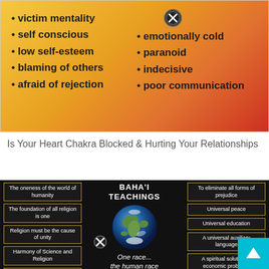[Figure (infographic): Heart chakra blocked symptoms infographic on orange/yellow gradient background. Left column: victim mentality, self conscious, low self-esteem, blaming of others, afraid of rejection. Right column: emotionally cold, paranoid, indecisive, poor communication. Two 'blocked' icons visible.]
Is Your Heart Chakra Blocked & Hurting Your Relationships
[Figure (infographic): Baha'i Teachings infographic on black background showing globe image in center with text 'One race... the human race' and quote beginning 'The earth is but one country, and mankind its citizens'. Left panel shows teaching boxes: The oneness of the world of humanity, The foundation of all religion is one, Religion must be the cause of unity, Harmony of Science and Religion, Independent investigation of truth, An international... Right panel shows: To eliminate all forms of prejudice, Universal peace, Universal education, A universal auxiliary language, A spiritual solution to economic problems, Education of...]